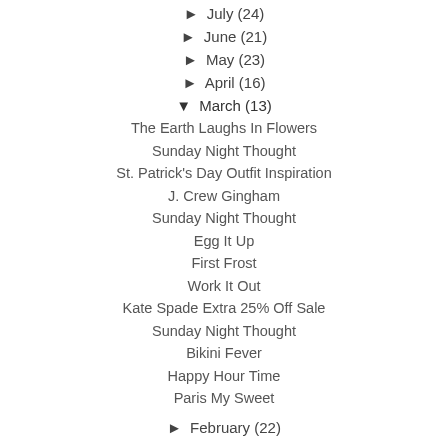► July (24)
► June (21)
► May (23)
► April (16)
▼ March (13)
The Earth Laughs In Flowers
Sunday Night Thought
St. Patrick's Day Outfit Inspiration
J. Crew Gingham
Sunday Night Thought
Egg It Up
First Frost
Work It Out
Kate Spade Extra 25% Off Sale
Sunday Night Thought
Bikini Fever
Happy Hour Time
Paris My Sweet
► February (22)